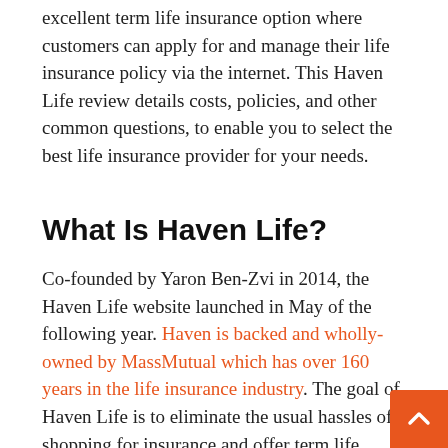excellent term life insurance option where customers can apply for and manage their life insurance policy via the internet. This Haven Life review details costs, policies, and other common questions, to enable you to select the best life insurance provider for your needs.
What Is Haven Life?
Co-founded by Yaron Ben-Zvi in 2014, the Haven Life website launched in May of the following year. Haven is backed and wholly-owned by MassMutual which has over 160 years in the life insurance industry. The goal of Haven Life is to eliminate the usual hassles of shopping for insurance and offer term life